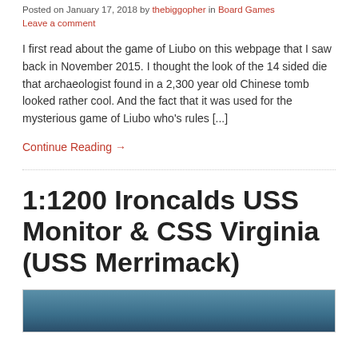Posted on January 17, 2018 by thebiggopher in Board Games
Leave a comment
I first read about the game of Liubo on this webpage that I saw back in November 2015. I thought the look of the 14 sided die that archaeologist found in a 2,300 year old Chinese tomb looked rather cool. And the fact that it was used for the mysterious game of Liubo who's rules [...]
Continue Reading →
1:1200 Ironcalds USS Monitor & CSS Virginia (USS Merrimack)
[Figure (photo): Partial view of a photo, likely showing ship models or historical ironclad warships]